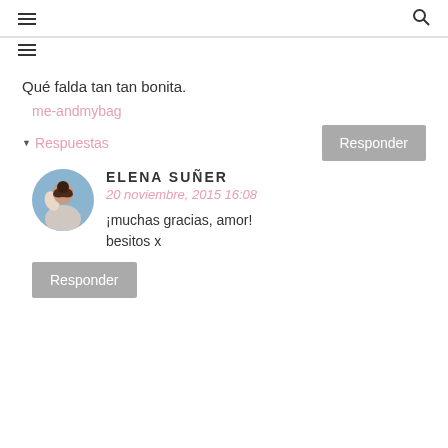☰ 🔍
Qué falda tan tan bonita.
me-andmybag
▼ Respuestas
Responder
ELENA SUÑER
20 noviembre, 2015 16:08
¡muchas gracias, amor!
besitos x
Responder